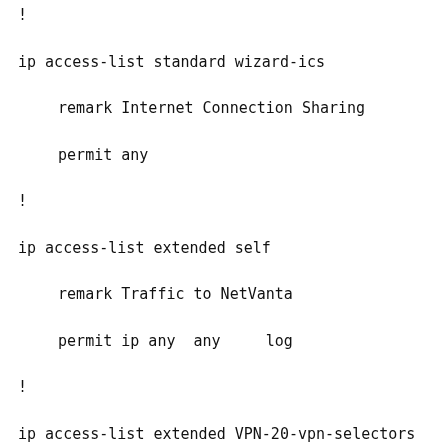!
ip access-list standard wizard-ics
remark Internet Connection Sharing
permit any
!
ip access-list extended self
remark Traffic to NetVanta
permit ip any  any     log
!
ip access-list extended VPN-20-vpn-selectors
permit ip 172.16.1.0 0.0.0.255  172.16.2.0 0.0.0.255
!
ip access-list extended web-acl-10